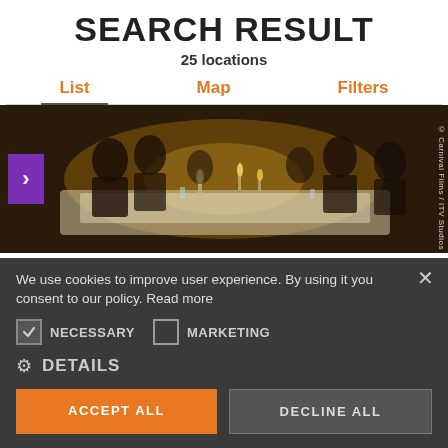SEARCH RESULT
25 locations
List   Map   Filters
[Figure (photo): A formal dinner scene with elegantly dressed people seated at a long table with candles and white tablecloth. A purple arrow button is visible on the left side. Photo credit: © Carnival Films / ITV Studios]
We use cookies to improve user experience. By using it you consent to our policy. Read more
NECESSARY
MARKETING
DETAILS
ACCEPT ALL
DECLINE ALL